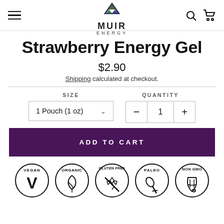Muir Energy
Strawberry Energy Gel
$2.90
Shipping calculated at checkout.
SIZE: 1 Pouch (1 oz) | QUANTITY: 1
ADD TO CART
[Figure (illustration): Row of certification badge icons: Vegan (V icon), Organic (leaf icon), Gluten Free (crossed wheat icon), Paleo (bone icon), Non GMO (bottle icon)]